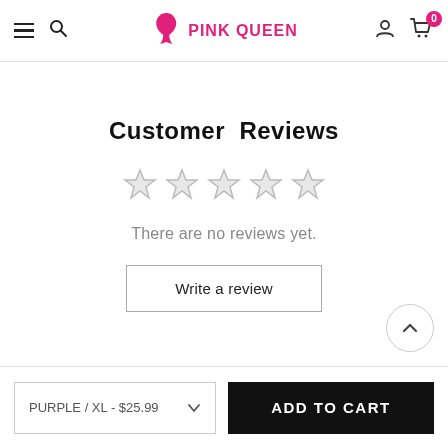Pink Queen - navigation header with hamburger menu, search, logo, user icon, cart (0)
Customer Reviews
[Figure (other): Five empty/outline star rating icons indicating no rating]
There are no reviews yet.
Write a review
PURPLE / XL - $25.99
ADD TO CART